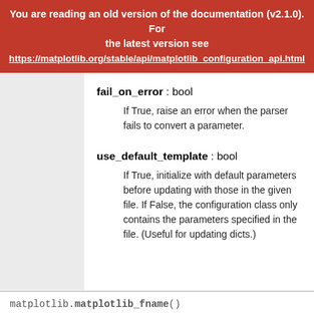You are reading an old version of the documentation (v2.1.0). For the latest version see https://matplotlib.org/stable/api/matplotlib_configuration_api.html
fail_on_error : bool

If True, raise an error when the parser fails to convert a parameter.
use_default_template : bool

If True, initialize with default parameters before updating with those in the given file. If False, the configuration class only contains the parameters specified in the file. (Useful for updating dicts.)
matplotlib.matplotlib_fname()